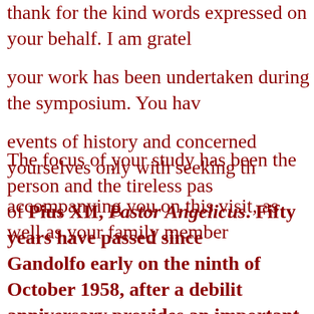thank for the kind words expressed on your behalf. I am grateful your work has been undertaken during the symposium. You have events of history and concerned yourselves only with seeking the accompanying you on this visit, as well as your family members
The focus of your study has been the person and the tireless pastoral of Pius XII, Pastor Angelicus. Fifty years have passed since Gandolfo early on the ninth of October 1958, after a debilitating anniversary provides an important opportunity to deepen our knowledge meditate on his rich teaching and to analyze thoroughly his written and said of him during these last five decades and his diverse pastoral activity have been examined in a just light. The symposium has been precisely to address some of these deficiencies documented examination of many of his interventions, especially who in those years were being targeted all over Europe, in accordance of those who wanted to eliminate them from the face of the earth. this noble Pope, free from ideological prejudices, in addition to his spiritual and human character one is also captivated by the extraordinary richness of his teaching. One can also see...